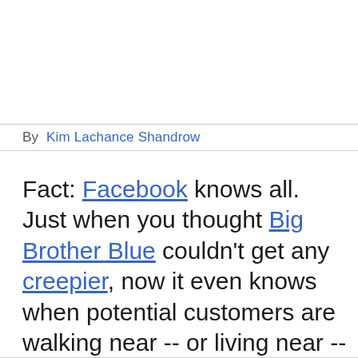By  Kim Lachance Shandrow
Fact: Facebook knows all. Just when you thought Big Brother Blue couldn't get any creepier, now it even knows when potential customers are walking near -- or living near -- your business.

Two years in the works, the social media powerhouse officially unveiled its new Local